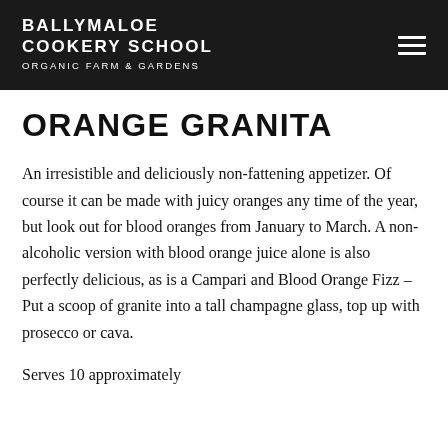BALLYMALOE COOKERY SCHOOL ORGANIC FARM & GARDENS
ORANGE GRANITA
An irresistible and deliciously non-fattening appetizer. Of course it can be made with juicy oranges any time of the year, but look out for blood oranges from January to March. A non-alcoholic version with blood orange juice alone is also perfectly delicious, as is a Campari and Blood Orange Fizz –  Put a scoop of granite into a tall champagne glass, top up with prosecco or cava.
Serves 10 approximately